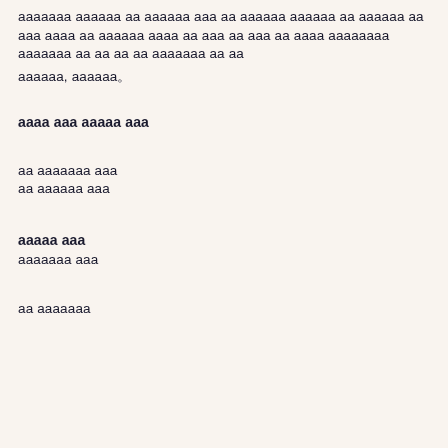ааааааа аааааа аа аааааа ааа аа аааааа аааааа аа аааааа аа ааа аааа аа аааааа аааа аа ааа аа ааа аа аааа аааааааа ааааааа аа аа аа аа ааааааа аа аа
аааааа, аааааа。
аааа ааа ааааа ааа
аа ааааааа ааа
аа аааааа ааа
ааааа ааа
ааааааа ааа
аа ааааааа